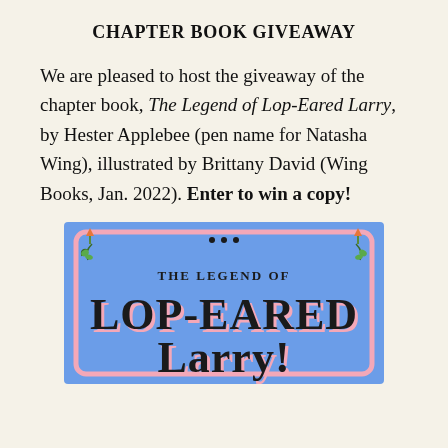CHAPTER BOOK GIVEAWAY
We are pleased to host the giveaway of the chapter book, The Legend of Lop-Eared Larry, by Hester Applebee (pen name for Natasha Wing), illustrated by Brittany David (Wing Books, Jan. 2022). Enter to win a copy!
[Figure (illustration): Book cover of 'The Legend of Lop-Eared Larry' with blue background, pink decorative border with vine/leaf corners, small carrot illustrations, and bold stylized title text in black and pink lettering.]